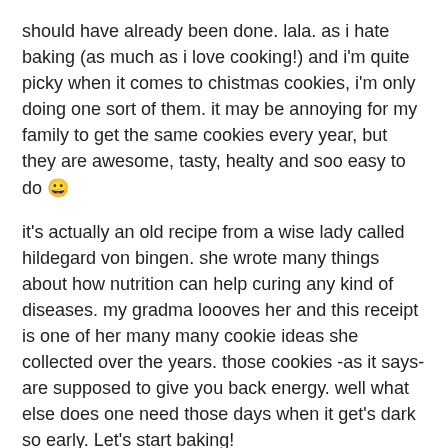should have already been done. lala. as i hate baking (as much as i love cooking!) and i'm quite picky when it comes to chistmas cookies, i'm only doing one sort of them. it may be annoying for my family to get the same cookies every year, but they are awesome, tasty, healty and soo easy to do 😀
it's actually an old recipe from a wise lady called hildegard von bingen. she wrote many things about how nutrition can help curing any kind of diseases. my gradma loooves her and this receipt is one of her many many cookie ideas she collected over the years. those cookies -as it says- are supposed to give you back energy. well what else does one need those days when it get's dark so early. Let's start baking!
here comes the recipe:
500g splint